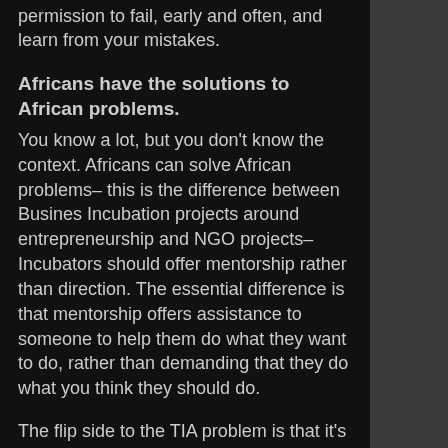permission to fail, early and often, and learn from your mistakes.
Africans have the solutions to African problems.
You know a lot, but you don't know the context. Africans can solve African problems– this is the difference between Busines Incubation projects around entrepreneurship and NGO projects– Incubators should offer mentorship rather than direction. The essential difference is that mentorship offers assistance to someone to help them do what they want to do, rather than demanding that they do what you think they should do.
The flip side to the TIA problem is that it's important to believe that things get better, that the creative, innovative entrepreneur inside can find a solution to the problem. The flip side to